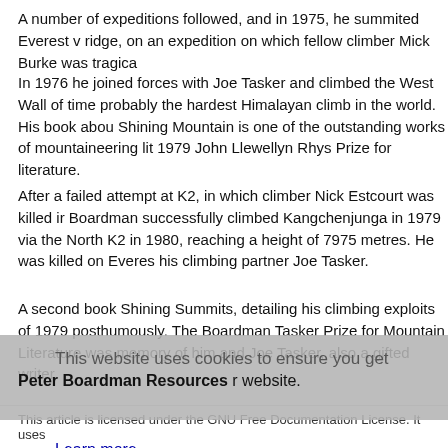A number of expeditions followed, and in 1975, he summited Everest v ridge, on an expedition on which fellow climber Mick Burke was tragica
In 1976 he joined forces with Joe Tasker and climbed the West Wall of time probably the hardest Himalayan climb in the world. His book abou Shining Mountain is one of the outstanding works of mountaineering lit 1979 John Llewellyn Rhys Prize for literature.
After a failed attempt at K2, in which climber Nick Estcourt was killed ir Boardman successfully climbed Kangchenjunga in 1979 via the North K2 in 1980, reaching a height of 7975 metres. He was killed on Everes his climbing partner Joe Tasker.
A second book Shining Summits, detailing his climbing exploits of 1979 posthumously. The Boardman Tasker Prize for Mountain Literature was memory of him and Joe Tasker, also a gifted writer.
This website uses cookies to ensure you get
Peter Boardman Resources
the best experience on our website.
Learn more
Suggest a Resource
Got it!
This article is licensed under the GNU Free Documentation License. It uses